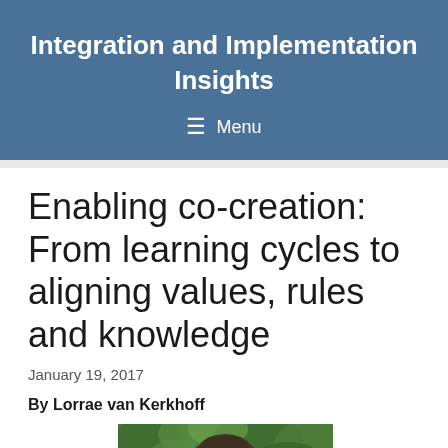Integration and Implementation Insights
Enabling co-creation: From learning cycles to aligning values, rules and knowledge
January 19, 2017
By Lorrae van Kerkhoff
[Figure (photo): Headshot photo of Lorrae van Kerkhoff with green foliage in background]